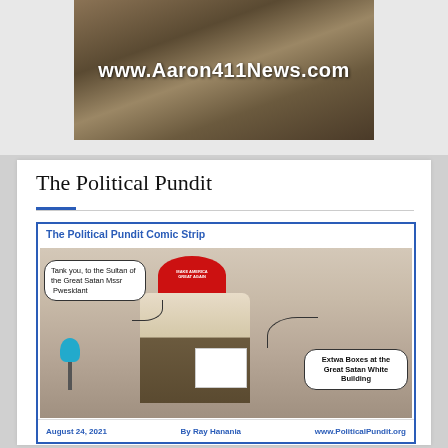[Figure (photo): Website banner header showing www.Aaron411News.com text over a dark brown background with microphones on cracked earth]
The Political Pundit
[Figure (illustration): The Political Pundit Comic Strip dated August 24, 2021 by Ray Hanania from www.PoliticalPundit.org. Shows a bearded man wearing a red MAGA hat with speech bubble saying 'Tank you, to the Sultan of the Great Satan Mssr Pwesidant' and another bubble saying 'Extwa Boxes at the Great Satan White Building']